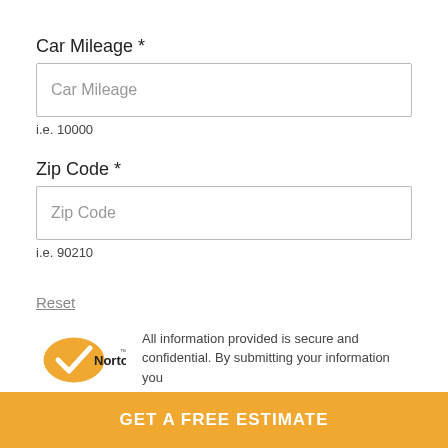Car Mileage *
Car Mileage
i.e. 10000
Zip Code *
Zip Code
i.e. 90210
Reset
CONTINUE
[Figure (logo): Norton security checkmark logo with yellow circle]
All information provided is secure and confidential. By submitting your information you
GET A FREE ESTIMATE